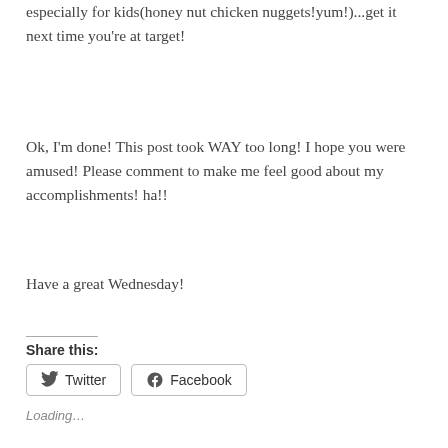especially for kids(honey nut chicken nuggets!yum!)...get it next time you're at target!
Ok, I'm done! This post took WAY too long! I hope you were amused! Please comment to make me feel good about my accomplishments! ha!!
Have a great Wednesday!
Share this:
Twitter | Facebook
Loading...